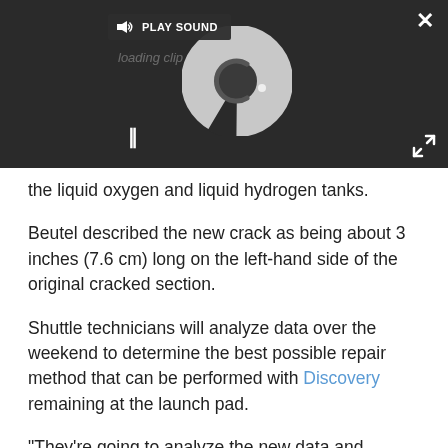[Figure (screenshot): Video player overlay with dark background, showing a loading spinner (circular progress indicator with a C-shaped grey arc), a PLAY SOUND button in the top bar, a pause button (II) at bottom left, a close (X) button at top right, and an expand arrows button at bottom right.]
the liquid oxygen and liquid hydrogen tanks.
Beutel described the new crack as being about 3 inches (7.6 cm) long on the left-hand side of the original cracked section.
Shuttle technicians will analyze data over the weekend to determine the best possible repair method that can be performed with Discovery remaining at the launch pad.
"They're going to analyze the new data and expand their look for additional cracks," Beutel said. "They